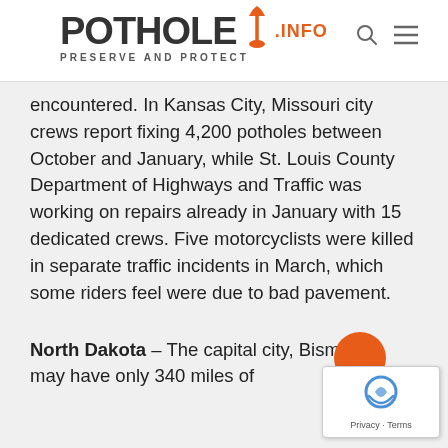POTHOLE.INFO — PRESERVE AND PROTECT
encountered. In Kansas City, Missouri city crews report fixing 4,200 potholes between October and January, while St. Louis County Department of Highways and Traffic was working on repairs already in January with 15 dedicated crews. Five motorcyclists were killed in separate traffic incidents in March, which some riders feel were due to bad pavement.
North Dakota – The capital city, Bismarck, may have only 340 miles of